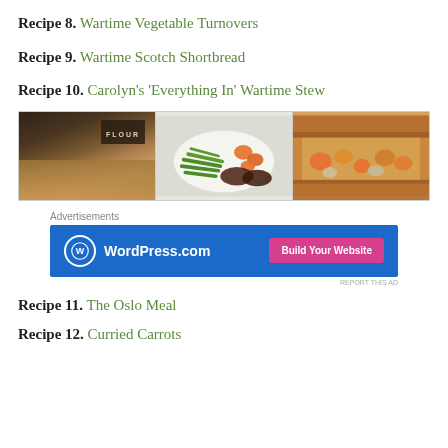Recipe 8. Wartime Vegetable Turnovers
Recipe 9. Wartime Scotch Shortbread
Recipe 10. Carolyn's 'Everything In' Wartime Stew
[Figure (photo): Three food photos side by side: bread/shortbread with flour tin in background, a plate with green beans, carrots and meat patties, and a cross-section of a vegetable pie/turnover.]
Advertisements
[Figure (screenshot): WordPress.com advertisement banner with blue background showing WordPress logo and URL on left and a pink 'Build Your Website' button on right.]
Recipe 11. The Oslo Meal
Recipe 12. Curried Carrots